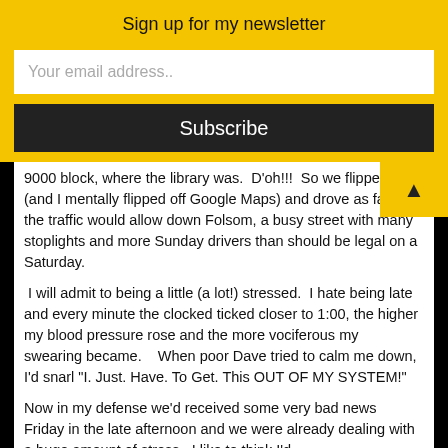Sign up for my newsletter
Your email address..
Subscribe
9000 block, where the library was.  D'oh!!!  So we flipped a U (and I mentally flipped off Google Maps) and drove as fast as the traffic would allow down Folsom, a busy street with many stoplights and more Sunday drivers than should be legal on a Saturday.
I will admit to being a little (a lot!) stressed.  I hate being late and every minute the clocked ticked closer to 1:00, the higher my blood pressure rose and the more vociferous my swearing became.    When poor Dave tried to calm me down, I'd snarl "I. Just. Have. To Get. This OUT OF MY SYSTEM!"
Now in my defense we'd received some very bad news Friday in the late afternoon and we were already dealing with a huge amount of stress.  I like to think I'd